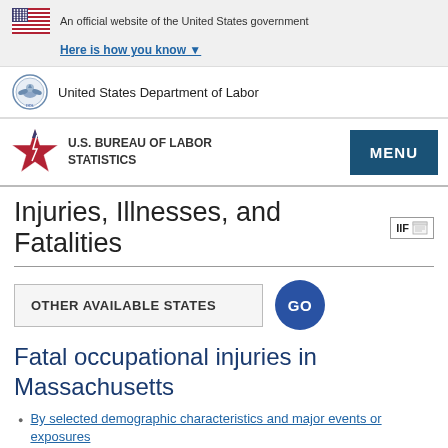An official website of the United States government
Here is how you know
United States Department of Labor
U.S. BUREAU OF LABOR STATISTICS
Injuries, Illnesses, and Fatalities
OTHER AVAILABLE STATES
Fatal occupational injuries in Massachusetts
By selected demographic characteristics and major events or exposures
By selected events and employee status and sex